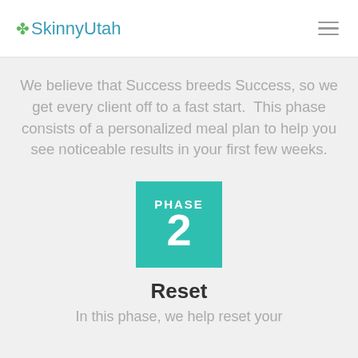SkinnyUtah
We believe that Success breeds Success, so we get every client off to a fast start.  This phase consists of a personalized meal plan to help you see noticeable results in your first few weeks.
[Figure (infographic): Teal square badge with text PHASE on top and large number 2 below, in white on teal background]
Reset
In this phase, we help reset your